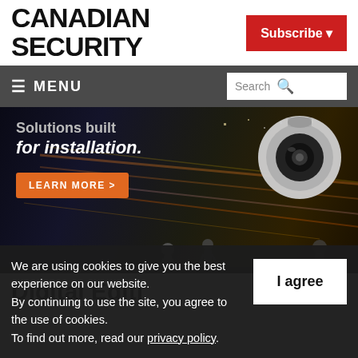CANADIAN SECURITY
Subscribe ▾
≡ MENU   Search 🔍
[Figure (photo): Advertisement banner for a security camera product. Shows city street at night with light streaks in background, pedestrians, and a dome security camera. Text reads 'Solutions built for installation.' with 'LEARN MORE >' button in orange.]
Digital Editi…
We are using cookies to give you the best experience on our website.
By continuing to use the site, you agree to the use of cookies.
To find out more, read our privacy policy.